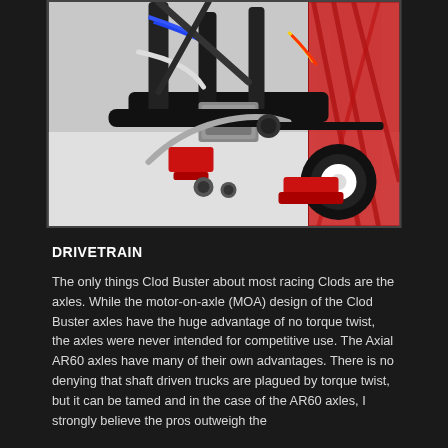[Figure (photo): Close-up photo of an RC truck chassis showing black metal frame with red structural components, motors on axles, wiring, and mechanical drivetrain components on a white background.]
DRIVETRAIN
The only things Clod Buster about most racing Clods are the axles. While the motor-on-axle (MOA) design of the Clod Buster axles have the huge advantage of no torque twist, the axles were never intended for competitive use. The Axial AR60 axles have many of their own advantages. There is no denying that shaft driven trucks are plagued by torque twist, but it can be tamed and in the case of the AR60 axles, I strongly believe the pros outweigh the